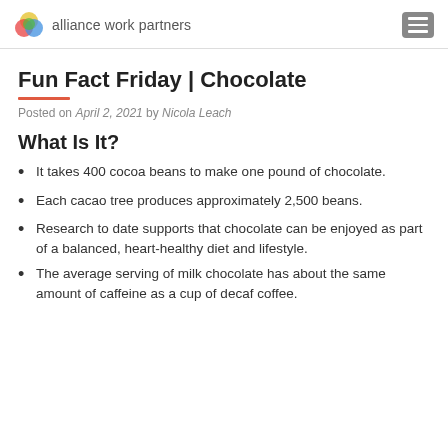alliance work partners
Fun Fact Friday | Chocolate
Posted on April 2, 2021 by Nicola Leach
What Is It?
It takes 400 cocoa beans to make one pound of chocolate.
Each cacao tree produces approximately 2,500 beans.
Research to date supports that chocolate can be enjoyed as part of a balanced, heart-healthy diet and lifestyle.
The average serving of milk chocolate has about the same amount of caffeine as a cup of decaf coffee.